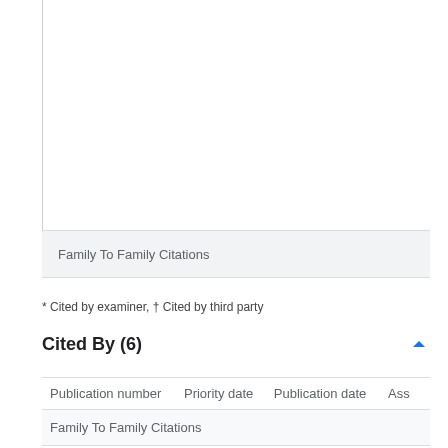| Publication number | Priority date | Publication date | Ass |
| --- | --- | --- | --- |
| Family To Family Citations |  |  |  |
| CN107485289B * | 2017-08-29 | 2019-12-06 | □□□□ |
* Cited by examiner, † Cited by third party
Cited By (6)
| Publication number | Priority date | Publication date | Ass |
| --- | --- | --- | --- |
| Family To Family Citations |  |  |  |
| CN107485289B * | 2017-08-29 | 2019-12-06 | □□□□ |